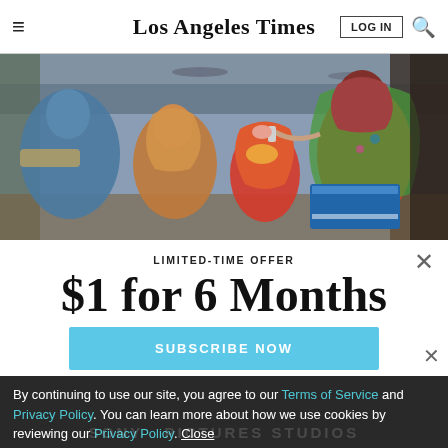Los Angeles Times
[Figure (photo): A health worker administering oral polio vaccine to a child, with women and children seated nearby in what appears to be a public space. A blue cooler is visible on the right side.]
LIMITED-TIME OFFER
$1 for 6 Months
SUBSCRIBE NOW
By continuing to use our site, you agree to our Terms of Service and Privacy Policy. You can learn more about how we use cookies by reviewing our Privacy Policy. Close